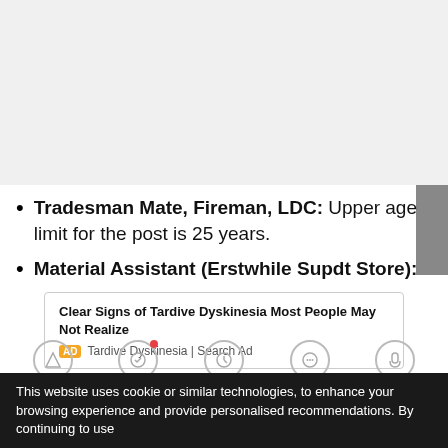[Figure (other): Gray background placeholder area at top of page]
Tradesman Mate, Fireman, LDC: Upper age limit for the post is 25 years.
Material Assistant (Erstwhile Supdt Store):
[Figure (other): Advertisement box: Clear Signs of Tardive Dyskinesia Most People May Not Realize. AD Tardive Dyskinesia | Search Ad]
This website uses cookie or similar technologies, to enhance your browsing experience and provide personalised recommendations. By continuing to use